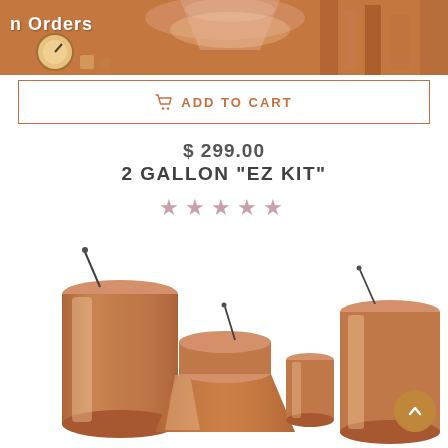[Figure (photo): Top portion of a copper distillery still kit product image, showing copper tubes and components with a gauge visible on the left side.]
n Orders
ADD TO CART
$ 299.00
2 GALLON "EZ KIT"
[Figure (other): Five star rating displayed in muted pink/rose color]
[Figure (photo): Copper distillery still kit components including large copper cylinders, a funnel-shaped base, and smaller cylindrical pieces arranged together on a white background. A back-to-top button (gold circle with upward chevron) is visible in the bottom right.]